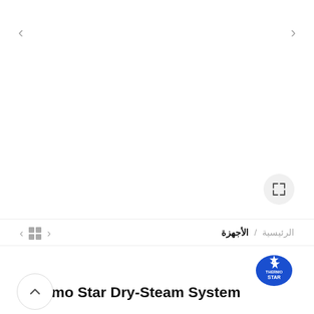[Figure (screenshot): Product image viewer area (empty/white) for Thermo Star Dry-Steam System with navigation arrows and expand button]
< □□ >
الرئيسية / الأجهزة
[Figure (logo): Thermo Star logo — blue star shape with THERMO STAR text]
Thermo Star Dry-Steam System